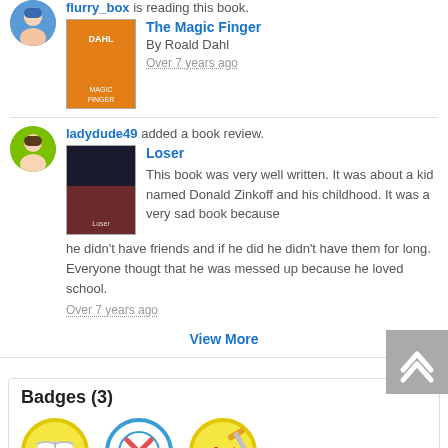flurry_box is reading this book.
The Magic Finger
By Roald Dahl
Over 7 years ago
ladydude49 added a book review.
Loser
This book was very well written. It was about a kid named Donald Zinkoff and his childhood. It was a very sad book because he didn't have friends and if he did he didn't have them for long. Everyone thougt that he was messed up because he loved school.
Over 7 years ago
View More
Badges (3)
[Figure (illustration): Three badge icons: a book badge (yellow circle with open book), a crossed-out badge (blue circle with X), and a 1st place writing badge (yellow circle with '1st' and pencil)]
Following (11)